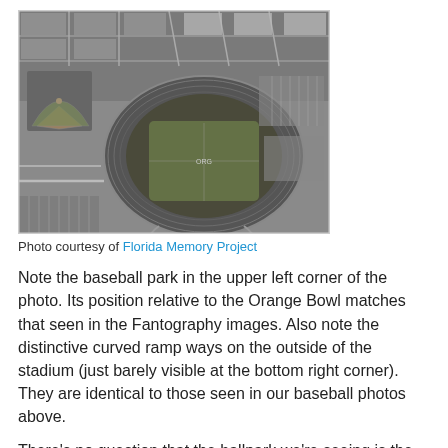[Figure (photo): Black and white aerial photograph of the Orange Bowl stadium and surrounding area, with a baseball park visible in the upper left corner. The stadium shows distinctive curved ramps on the outside. Parking lots and neighborhood streets are visible around the stadium.]
Photo courtesy of Florida Memory Project
Note the baseball park in the upper left corner of the photo. Its position relative to the Orange Bowl matches that seen in the Fantography images. Also note the distinctive curved ramp ways on the outside of the stadium (just barely visible at the bottom right corner). They are identical to those seen in our baseball photos above.
There's no question that the ballpark we're seeing is the one right next to the Orange Bowl. Its name: Miami Field. So is this one of the games from 1949, or perhaps a different